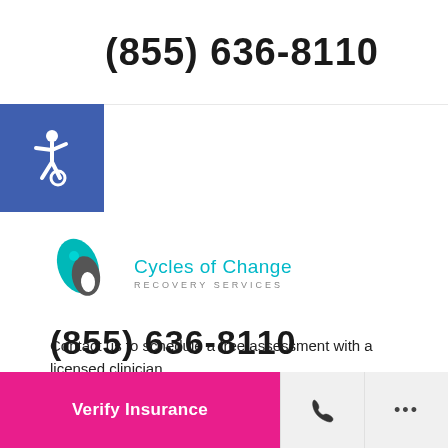(855) 636-8110
[Figure (illustration): Accessibility wheelchair icon in white on blue background square]
[Figure (logo): Cycles of Change Recovery Services logo with teal/grey teardrop shapes and teal text]
Contact us to schedule a free assessment with a licensed clinician.
Need help right away? Call us now.
(855) 636-8110
Verify Insurance